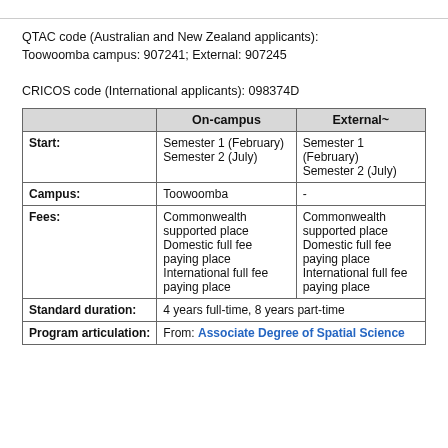QTAC code (Australian and New Zealand applicants): Toowoomba campus: 907241; External: 907245

CRICOS code (International applicants): 098374D
|  | On-campus | External~ |
| --- | --- | --- |
| Start: | Semester 1 (February)
Semester 2 (July) | Semester 1 (February)
Semester 2 (July) |
| Campus: | Toowoomba | - |
| Fees: | Commonwealth supported place
Domestic full fee paying place
International full fee paying place | Commonwealth supported place
Domestic full fee paying place
International full fee paying place |
| Standard duration: | 4 years full-time, 8 years part-time |  |
| Program articulation: | From: Associate Degree of Spatial Science |  |